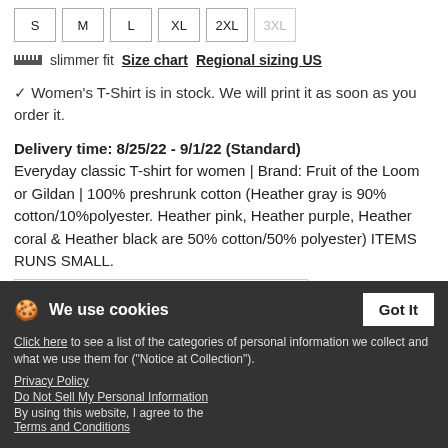S M L XL 2XL 3XL (size buttons)
slimmer fit  Size chart  Regional sizing US
✓ Women's T-Shirt is in stock. We will print it as soon as you order it.
Delivery time: 8/25/22 - 9/1/22 (Standard) Everyday classic T-shirt for women | Brand: Fruit of the Loom or Gildan | 100% preshrunk cotton (Heather gray is 90% cotton/10%polyester. Heather pink, Heather purple, Heather coral & Heather black are 50% cotton/50% polyester) ITEMS RUNS SMALL.
3 products with this design
We use cookies
Got It
Click here to see a list of the categories of personal information we collect and what we use them for ("Notice at Collection").
Product Details
Privacy Policy
Do Not Sell My Personal Information
By using this website, I agree to the Terms and Conditions
Description